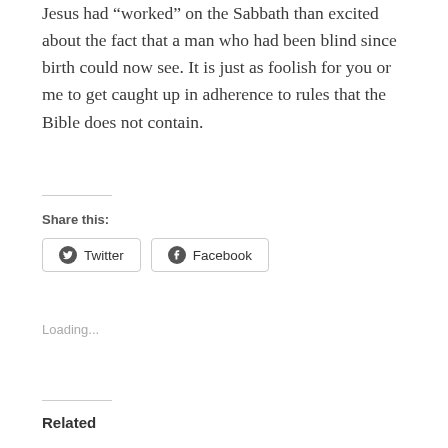Jesus had “worked” on the Sabbath than excited about the fact that a man who had been blind since birth could now see. It is just as foolish for you or me to get caught up in adherence to rules that the Bible does not contain.
Share this:
[Figure (other): Share buttons for Twitter and Facebook]
Loading...
Related